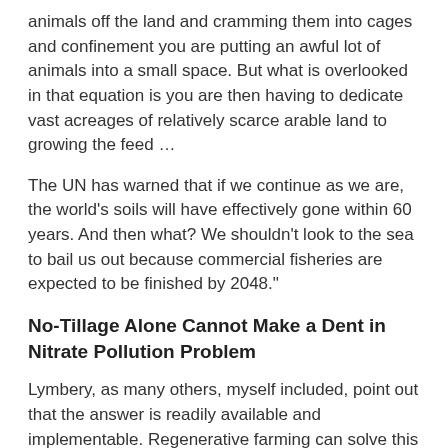animals off the land and cramming them into cages and confinement you are putting an awful lot of animals into a small space. But what is overlooked in that equation is you are then having to dedicate vast acreages of relatively scarce arable land to growing the feed …
The UN has warned that if we continue as we are, the world's soils will have effectively gone within 60 years. And then what? We shouldn't look to the sea to bail us out because commercial fisheries are expected to be finished by 2048."
No-Tillage Alone Cannot Make a Dent in Nitrate Pollution Problem
Lymbery, as many others, myself included, point out that the answer is readily available and implementable. Regenerative farming can solve this and many other environmental and human health problems, if done in a thorough and holistic manner. No-till agriculture, which has become increasingly embraced as a solution to water pollution and other environmental problems associated with modern farming, is nowhere near enough.
While it's certainly useful, and a method employed in regenerative agriculture, it alone cannot address the growing